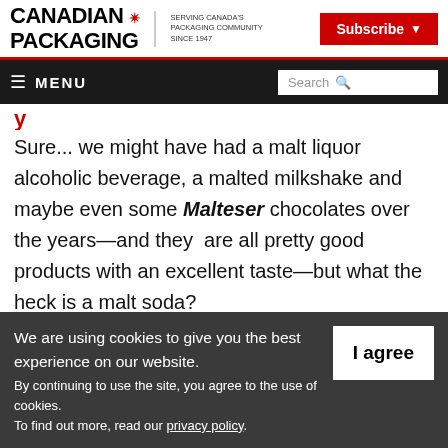CANADIAN PACKAGING — SERVING CANADA'S PACKAGING COMMUNITY SINCE 1947 — Subscribe
☰ MENU | Search
Sure... we might have had a malt liquor alcoholic beverage, a malted milkshake and maybe even some Malteser chocolates over the years—and they  are all pretty good products with an excellent taste—but what the heck is a malt soda?
We are using cookies to give you the best experience on our website.
By continuing to use the site, you agree to the use of cookies.
To find out more, read our privacy policy.